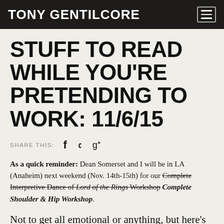TONY GENTILCORE
STUFF TO READ WHILE YOU'RE PRETENDING TO WORK: 11/6/15
SHARE THIS: f y g+
As a quick reminder: Dean Somerset and I will be in LA (Anaheim) next weekend (Nov. 14th-15th) for our Complete Interpretive Dance of Lord of the Rings Workshop Complete Shoulder & Hip Workshop.
Not to get all emotional or anything, but here’s an email I received this morning from an attendee of our